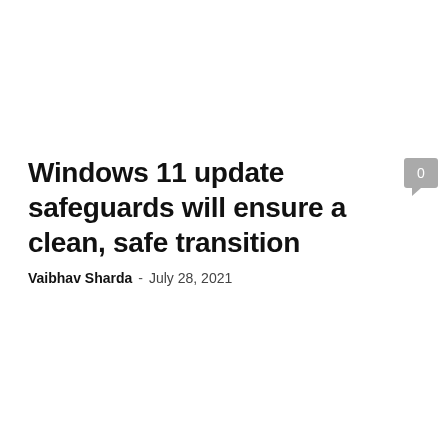Windows 11 update safeguards will ensure a clean, safe transition
Vaibhav Sharda  -  July 28, 2021